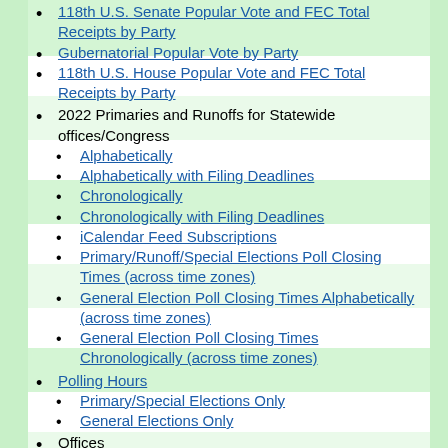118th U.S. Senate Popular Vote and FEC Total Receipts by Party
Gubernatorial Popular Vote by Party
118th U.S. House Popular Vote and FEC Total Receipts by Party
2022 Primaries and Runoffs for Statewide offices/Congress
Alphabetically
Alphabetically with Filing Deadlines
Chronologically
Chronologically with Filing Deadlines
iCalendar Feed Subscriptions
Primary/Runoff/Special Elections Poll Closing Times (across time zones)
General Election Poll Closing Times Alphabetically (across time zones)
General Election Poll Closing Times Chronologically (across time zones)
Polling Hours
Primary/Special Elections Only
General Elections Only
Offices
Senate
Senators by 'Class'
Senate Electoral Classes
Governors